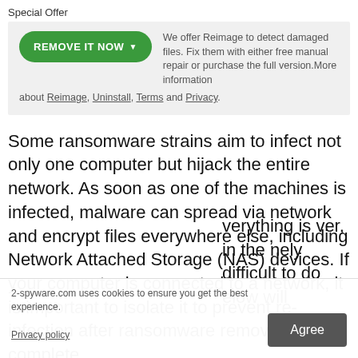Special Offer
We offer Reimage to detect damaged files. Fix them with either free manual repair or purchase the full version.More information about Reimage, Uninstall, Terms and Privacy.
Some ransomware strains aim to infect not only one computer but hijack the entire network. As soon as one of the machines is infected, malware can spread via network and encrypt files everywhere else, including Network Attached Storage (NAS) devices. If your computer is connected to a network, it is important to isolate it to prevent re-infection after ransomware removal is complete.
2-spyware.com uses cookies to ensure you get the best experience.
Privacy policy
Agree